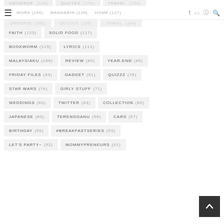UNIVERSE (100) QUOTES (150) TRAVEL (154)
WORK (150)
MANDARIN (139)
HOME (127)
FAITH (123)
SOLID FOOD (117)
BOOKWORM (115)
LYRICS (111)
MALAYSIAKU (109)
REVIEW (85)
YEAR-END (85)
FRIDAY FILES (84)
GADGET (81)
QUIZZZ (76)
STAR WARS (74)
GIRLY STUFF (71)
WEDDINGS (66)
TWITTER (63)
COLLECTION (60)
JAPANESE (60)
TERENGGANU (59)
CARS (57)
BIRTHDAY (56)
#BREAKFASTSERIES (53)
LET'S PARTY~ (52)
MOMMYPRENEURS (51)